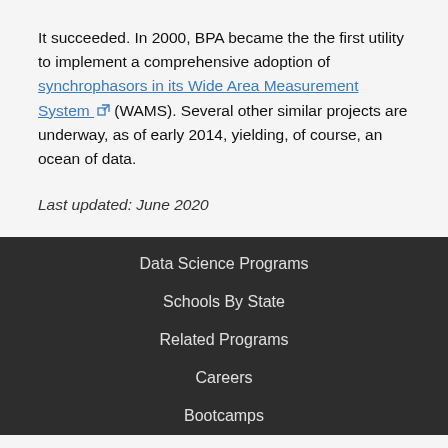It succeeded. In 2000, BPA became the the first utility to implement a comprehensive adoption of synchrophasors in its Wide Area Measurement System (WAMS). Several other similar projects are underway, as of early 2014, yielding, of course, an ocean of data.
Last updated: June 2020
Data Science Programs
Schools By State
Related Programs
Careers
Bootcamps